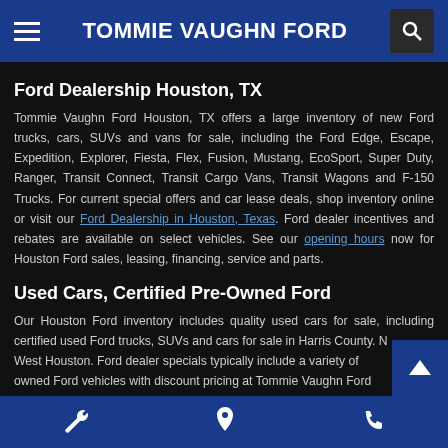TOMMIE VAUGHN FORD
Ford Dealership Houston, TX
Tommie Vaughn Ford Houston, TX offers a large inventory of new Ford trucks, cars, SUVs and vans for sale, including the Ford Edge, Escape, Expedition, Explorer, Fiesta, Flex, Fusion, Mustang, EcoSport, Super Duty, Ranger, Transit Connect, Transit Cargo Vans, Transit Wagons and F-150 Trucks. For current special offers and car lease deals, shop inventory online or visit our Ford Dealership in Houston, Texas. Ford dealer incentives and rebates are available on select vehicles. See our opening hours now for Houston Ford sales, leasing, financing, service and parts.
Used Cars, Certified Pre-Owned Ford
Our Houston Ford inventory includes quality used cars for sale, including certified used Ford trucks, SUVs and cars for sale in Harris County. N West Houston. Ford dealer specials typically include a variety of owned Ford vehicles with discount pricing at Tommie Vaughn Ford